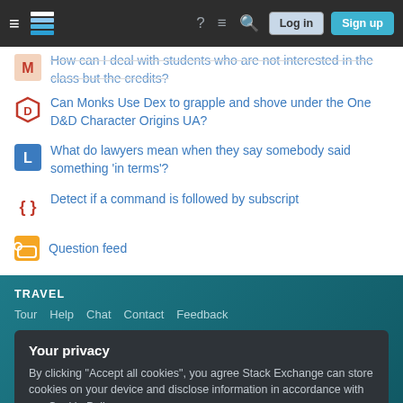Stack Exchange navigation bar with hamburger menu, logo, help, chat, search icons, Log in and Sign up buttons
How can I deal with students who are not interested in the class but the credits?
Can Monks Use Dex to grapple and shove under the One D&D Character Origins UA?
What do lawyers mean when they say somebody said something 'in terms'?
Detect if a command is followed by subscript
Question feed
TRAVEL
Tour  Help  Chat  Contact  Feedback
Your privacy
By clicking "Accept all cookies", you agree Stack Exchange can store cookies on your device and disclose information in accordance with our Cookie Policy.
Accept all cookies  Customize settings
Technology  Culture & recreation  Life & arts  Science  Professional